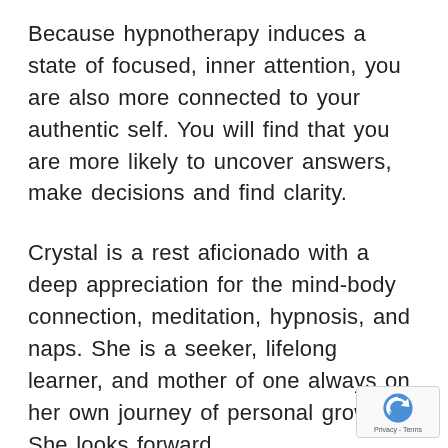Because hypnotherapy induces a state of focused, inner attention, you are also more connected to your authentic self. You will find that you are more likely to uncover answers, make decisions and find clarity.
Crystal is a rest aficionado with a deep appreciation for the mind-body connection, meditation, hypnosis, and naps. She is a seeker, lifelong learner, and mother of one always on her own journey of personal growth. She looks forward to working with you on your...